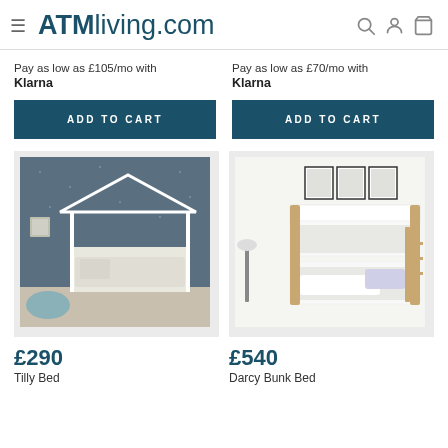ATMliving.com
Pay as low as £105/mo with
Klarna
Pay as low as £70/mo with
Klarna
ADD TO CART
ADD TO CART
[Figure (photo): White house-shaped children's bed frame in a room with dark star-patterned wallpaper and a light blue pouffe]
[Figure (photo): White and natural wood bunk bed in a bright white room with framed prints on the wall]
£290
£540
Tilly Bed
Darcy Bunk Bed